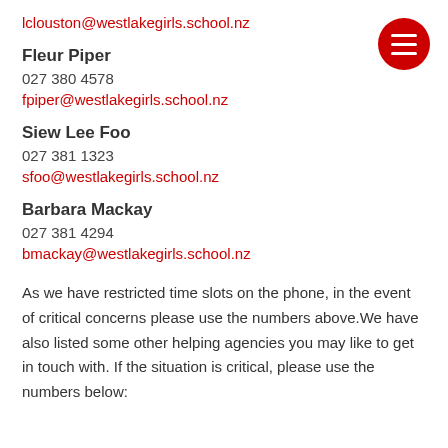lclouston@westlakegirls.school.nz
Fleur Piper
027 380 4578
fpiper@westlakegirls.school.nz
Siew Lee Foo
027 381 1323
sfoo@westlakegirls.school.nz
Barbara Mackay
027 381 4294
bmackay@westlakegirls.school.nz
As we have restricted time slots on the phone, in the event of critical concerns please use the numbers above.We have also listed some other helping agencies you may like to get in touch with. If the situation is critical, please use the numbers below: